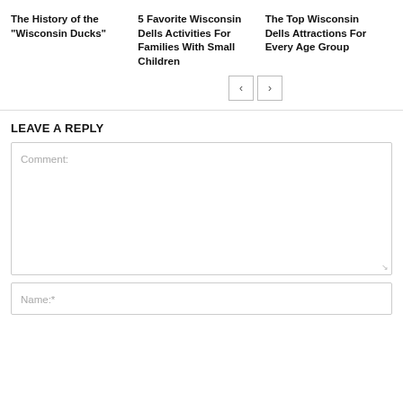The History of the “Wisconsin Ducks”
5 Favorite Wisconsin Dells Activities For Families With Small Children
The Top Wisconsin Dells Attractions For Every Age Group
LEAVE A REPLY
Comment:
Name:*